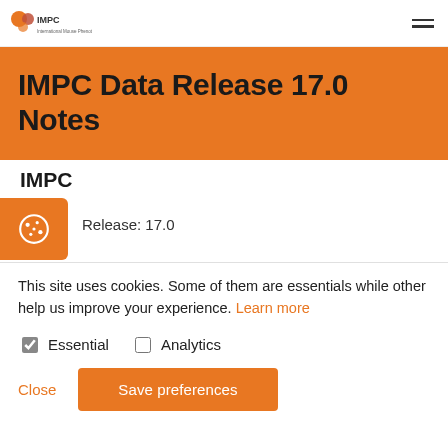IMPC
IMPC Data Release 17.0 Notes
IMPC
Release: 17.0
This site uses cookies. Some of them are essentials while other help us improve your experience. Learn more
Essential   Analytics
Close   Save preferences